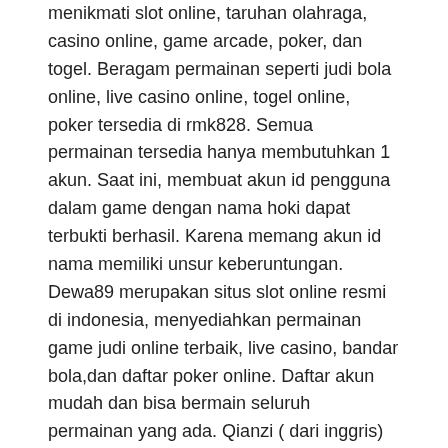menikmati slot online, taruhan olahraga, casino online, game arcade, poker, dan togel. Beragam permainan seperti judi bola online, live casino online, togel online, poker tersedia di rmk828. Semua permainan tersedia hanya membutuhkan 1 akun. Saat ini, membuat akun id pengguna dalam game dengan nama hoki dapat terbukti berhasil. Karena memang akun id nama memiliki unsur keberuntungan. Dewa89 merupakan situs slot online resmi di indonesia, menyediahkan permainan game judi online terbaik, live casino, bandar bola,dan daftar poker online. Daftar akun mudah dan bisa bermain seluruh permainan yang ada. Qianzi ( dari inggris) artinya pembawa keberuntungan · edith ( nama. Edite arti nama ini adalah keberuntungan dan kekayaan. Yuki arti nama ini. Untuk mulai bermain, anda hanya perlu membuat akun secara online di pragmatic88. Rajasloto rekomendasikan 12 daftar situs judi slot